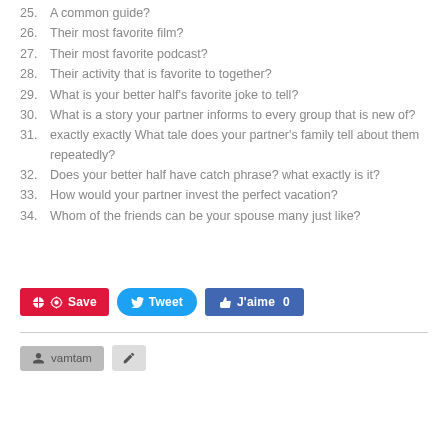25. A common guide?
26. Their most favorite film?
27. Their most favorite podcast?
28. Their activity that is favorite to together?
29. What is your better half's favorite joke to tell?
30. What is a story your partner informs to every group that is new of?
31. exactly exactly What tale does your partner's family tell about them repeatedly?
32. Does your better half have catch phrase? what exactly is it?
33. How would your partner invest the perfect vacation?
34. Whom of the friends can be your spouse many just like?
[Figure (other): Social share buttons: Pinterest Save, Twitter Tweet, Facebook J'aime 0]
vamtam (author icon and edit icon)